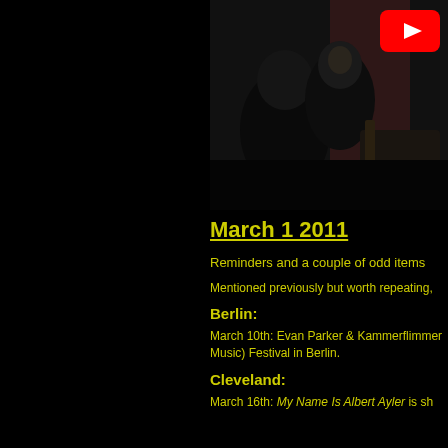[Figure (photo): Dark photo of musicians in a room, partially visible; YouTube play button overlay in top right corner]
March 1 2011
Reminders and a couple of odd items
Mentioned previously but worth repeating,
Berlin:
March 10th: Evan Parker & Kammerflimmer (Music) Festival in Berlin.
Cleveland:
March 16th: My Name Is Albert Ayler is sh